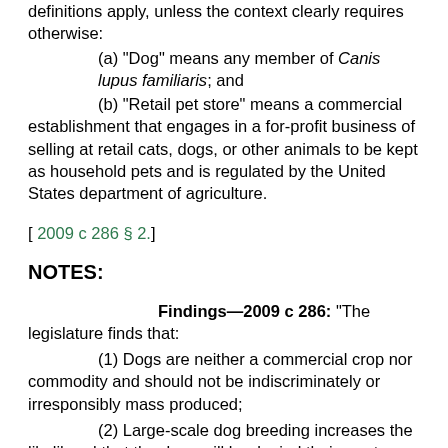definitions apply, unless the context clearly requires otherwise:
(a) "Dog" means any member of Canis lupus familiaris; and
(b) "Retail pet store" means a commercial establishment that engages in a for-profit business of selling at retail cats, dogs, or other animals to be kept as household pets and is regulated by the United States department of agriculture.
[ 2009 c 286 § 2.]
NOTES:
Findings—2009 c 286: "The legislature finds that:
(1) Dogs are neither a commercial crop nor commodity and should not be indiscriminately or irresponsibly mass produced;
(2) Large-scale dog breeding increases the likelihood that the dogs will be denied their most basic needs including but not limited to: Sanitary living